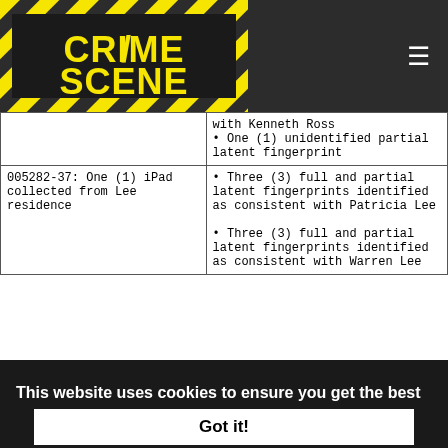[Figure (logo): Crime Scene website logo with yellow/black hazard stripes and bold yellow text on dark background]
|  | with Kenneth Ross
• One (1) unidentified partial latent fingerprint |
| 005282-37: One (1) iPad collected from Lee residence | • Three (3) full and partial latent fingerprints identified as consistent with Patricia Lee
• Three (3) full and partial latent fingerprints identified as consistent with Warren Lee |
This website uses cookies to ensure you get the best experience on our website.
Got it!